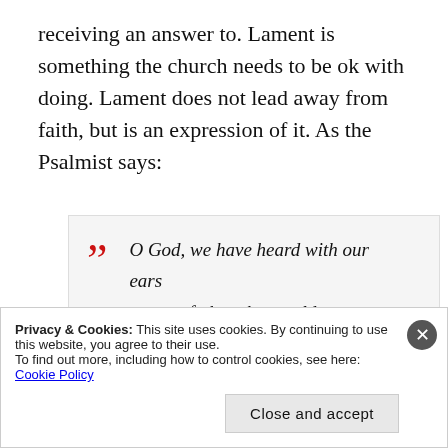receiving an answer to. Lament is something the church needs to be ok with doing. Lament does not lead away from faith, but is an expression of it. As the Psalmist says:
O God, we have heard with our ears our fathers have told us, what deeds you performed in their days,
Privacy & Cookies: This site uses cookies. By continuing to use this website, you agree to their use. To find out more, including how to control cookies, see here: Cookie Policy
Close and accept